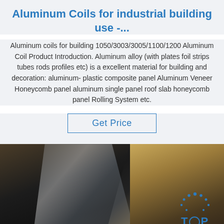Aluminum Coils for industrial building use -...
Aluminum coils for building 1050/3003/3005/1100/1200 Aluminum Coil Product Introduction. Aluminum alloy (with plates foil strips tubes rods profiles etc) is a excellent material for building and decoration: aluminum- plastic composite panel Aluminum Veneer Honeycomb panel aluminum single panel roof slab honeycomb panel Rolling System etc.
Get Price
[Figure (photo): Photo of aluminum coils/sheets with plastic protective wrapping on top, brown wooden support on the right side. A 'TOP' logo with blue dots arranged in an arc is visible in the lower right corner.]